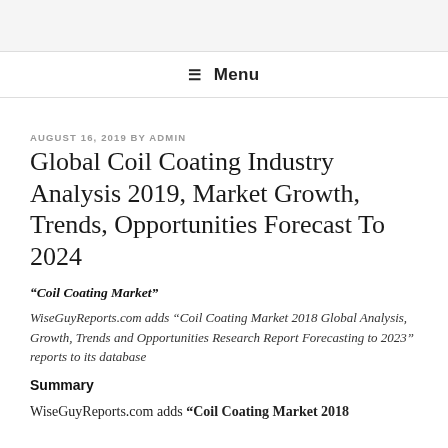≡ Menu
AUGUST 16, 2019 BY ADMIN
Global Coil Coating Industry Analysis 2019, Market Growth, Trends, Opportunities Forecast To 2024
“Coil Coating Market”
WiseGuyReports.com adds “Coil Coating Market 2018 Global Analysis, Growth, Trends and Opportunities Research Report Forecasting to 2023” reports to its database
Summary
WiseGuyReports.com adds “Coil Coating Market 2018